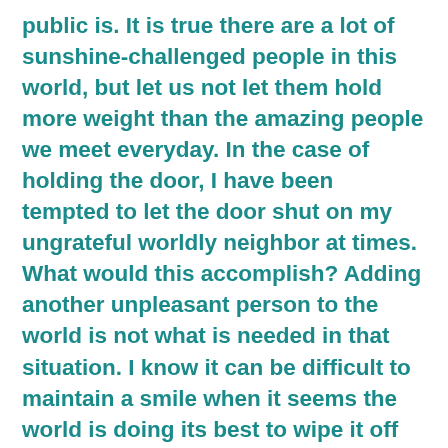public is. It is true there are a lot of sunshine-challenged people in this world, but let us not let them hold more weight than the amazing people we meet everyday. In the case of holding the door, I have been tempted to let the door shut on my ungrateful worldly neighbor at times. What would this accomplish? Adding another unpleasant person to the world is not what is needed in that situation. I know it can be difficult to maintain a smile when it seems the world is doing its best to wipe it off your face. I do my best to remember if I respond in kind to their unpleasant treatment of me, or worse allow it to bring down my positivity, than I am letting their negativity win. That will not only prove them right in their negative thinking, thus reinforcing it, but also